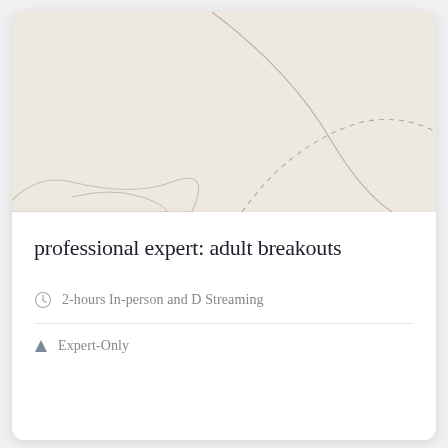[Figure (illustration): Abstract decorative illustration with beige/cream background featuring organic curved lines and a dashed arc shape in the lower right area]
professional expert: adult breakouts
2-hours In-person and D Streaming
Expert-Only